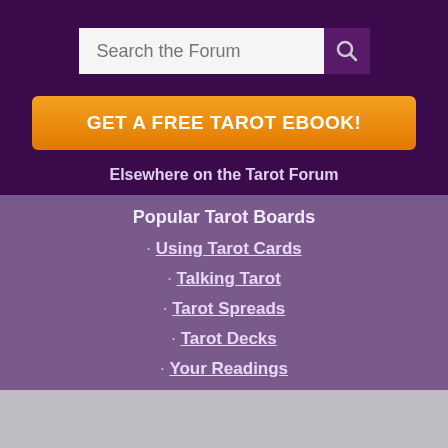Search the Forum
GET A FREE TAROT EBOOK!
Elsewhere on the Tarot Forum
Popular Tarot Boards
· Using Tarot Cards
· Talking Tarot
· Tarot Spreads
· Tarot Decks
· Your Readings
· Reading Exchange